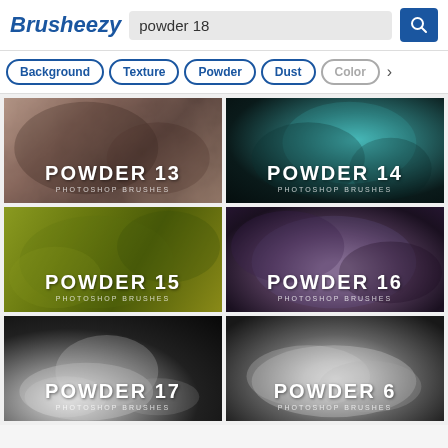Brusheezy
powder 18
Background
Texture
Powder
Dust
Color
[Figure (photo): Powder 13 Photoshop Brushes thumbnail with dusty pink/brown powder smoke texture on dark background]
[Figure (photo): Powder 14 Photoshop Brushes thumbnail with teal/cyan powder smoke on black background]
[Figure (photo): Powder 15 Photoshop Brushes thumbnail with yellow-green/olive powder smoke texture]
[Figure (photo): Powder 16 Photoshop Brushes thumbnail with purple/violet powder smoke on dark background]
[Figure (photo): Powder 17 Photoshop Brushes thumbnail with white powder explosion on black background]
[Figure (photo): Powder 6 Photoshop Brushes thumbnail with white smoke/powder on dark background]